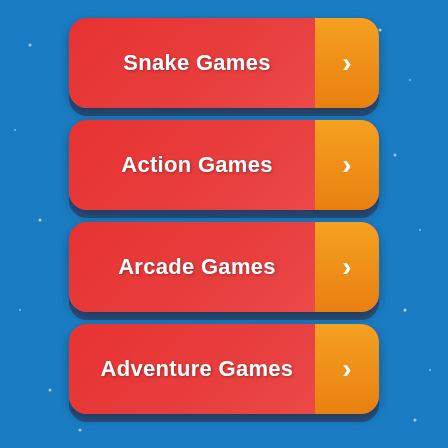[Figure (screenshot): Blue background with small white dot stars scattered across]
Snake Games
Action Games
Arcade Games
Adventure Games